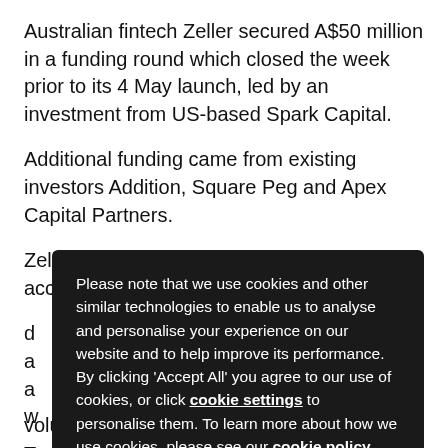Australian fintech Zeller secured A$50 million in a funding round which closed the week prior to its 4 May launch, led by an investment from US-based Spark Capital.
Additional funding came from existing investors Addition, Square Peg and Apex Capital Partners.
Zeller said it will use the proceeds to accelerate the development of...
volume has risen 200%.
[Figure (screenshot): Cookie consent overlay on dark background with text about cookies and two buttons: REJECT and ACCEPT ALL]